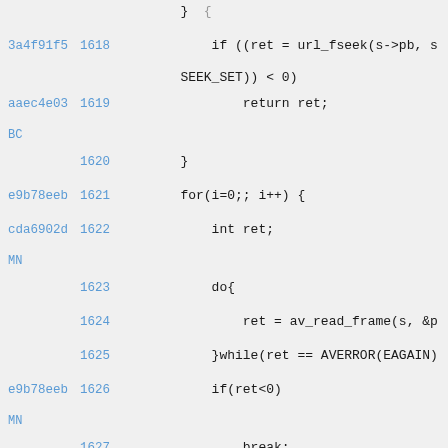[Figure (screenshot): Source code diff view showing lines 1618-1631 of a C file with git commit hashes and line numbers. Code includes url_fseek, av_read_frame, av_free_packet, and stream index checks.]